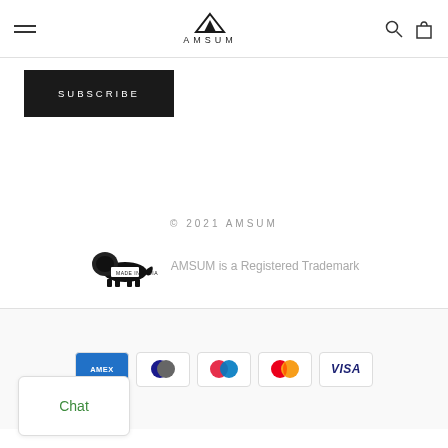AMSUM
[Figure (logo): AMSUM logo with triangle/mountain icon above text]
SUBSCRIBE
© 2021 AMSUM
[Figure (illustration): Black lion silhouette with 'MADE IN INDIA' badge]
AMSUM is a Registered Trademark
[Figure (infographic): Payment method icons: American Express, Diners Club, Mastercard variant, Mastercard, Visa]
Chat